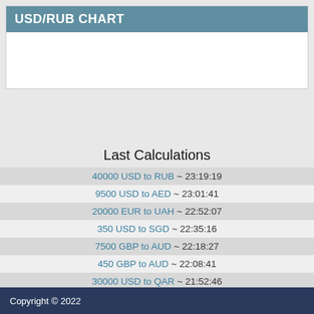USD/RUB CHART
[Figure (other): Empty chart placeholder area for USD/RUB chart]
Last Calculations
40000 USD to RUB ~ 23:19:19
9500 USD to AED ~ 23:01:41
20000 EUR to UAH ~ 22:52:07
350 USD to SGD ~ 22:35:16
7500 GBP to AUD ~ 22:18:27
450 GBP to AUD ~ 22:08:41
30000 USD to QAR ~ 21:52:46
350 USD to UAH ~ 21:35:16
4500 USD to THB ~ 21:21:21
0.020 BTC to AUD ~ 21:01:34
15000 USD to RUB ~ 20:52:16
Copyright © 2022